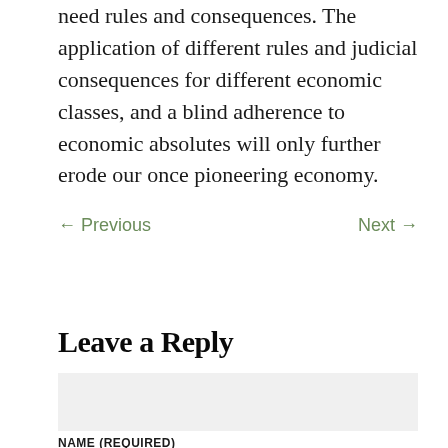need rules and consequences. The application of different rules and judicial consequences for different economic classes, and a blind adherence to economic absolutes will only further erode our once pioneering economy.
← Previous    Next →
Leave a Reply
NAME (REQUIRED)